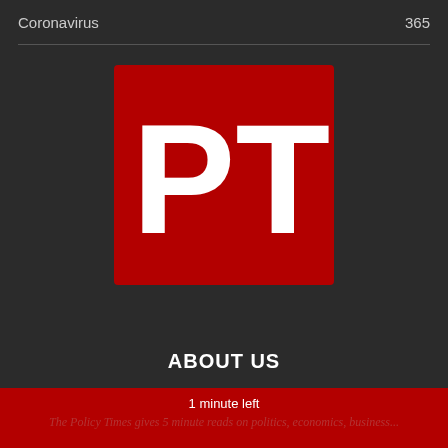Coronavirus    365
[Figure (logo): PT logo — white letters P and T on a red square background]
ABOUT US
1 minute left
The Policy Times gives 5 minute reads on politics, economics, business...